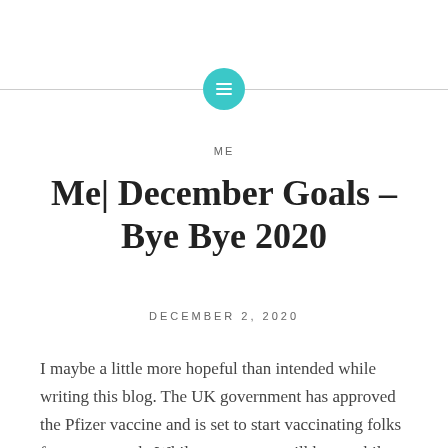[Figure (illustration): Teal/turquoise circular icon with a grid/table symbol inside, centered on a horizontal gray divider line]
ME
Me| December Goals – Bye Bye 2020
DECEMBER 2, 2020
I maybe a little more hopeful than intended while writing this blog. The UK government has approved the Pfizer vaccine and is set to start vaccinating folks from next week. While my country still has a while to go before we get the vaccine – it still fills me with so